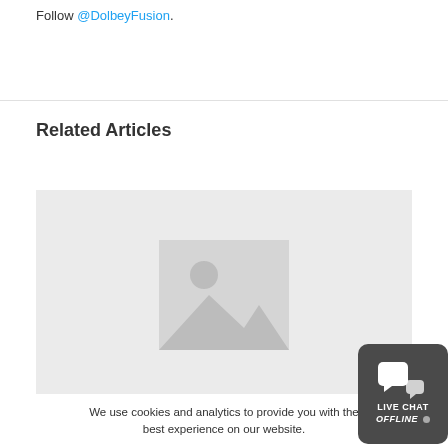Follow @DolbeyFusion.
Related Articles
[Figure (photo): Placeholder image box with gray background and image placeholder icon (mountain/sun silhouette) for a related article thumbnail]
We use cookies and analytics to provide you with the best experience on our website.
[Figure (other): Live Chat widget: dark rounded rectangle with two speech bubble icons and text LIVE CHAT OFFLINE with gray dot]